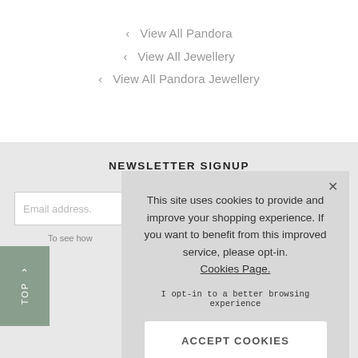‹  View All Pandora
‹  View All Jewellery
‹  View All Pandora Jewellery
NEWSLETTER SIGNUP
Email address.
To see how
TOP
[Figure (screenshot): Cookie consent overlay popup with text: This site uses cookies to provide and improve your shopping experience. If you want to benefit from this improved service, please opt-in. Cookies Page. I opt-in to a better browsing experience. ACCEPT COOKIES button.]
E